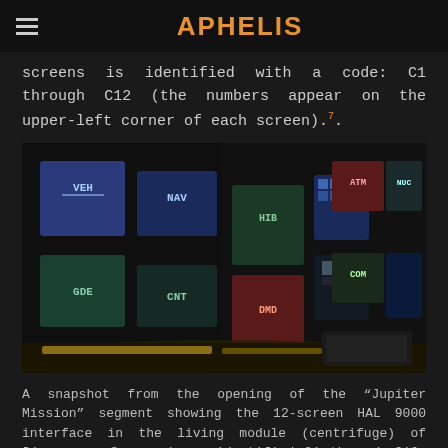APHELIS
screens is identified with a code: C1 through C12 (the numbers appear on the upper-left corner of each screen).7.
[Figure (photo): A snapshot from the opening of the Jupiter Mission segment showing the 12-screen HAL 9000 interface in the living module (centrifuge) of Discovery. Multiple screens visible including VEH, NAV, GDE, CNT, HIB, DMD, ATM, NUC, COM screens.]
A snapshot from the opening of the “Jupiter Mission” segment showing the 12-screen HAL 9000 interface in the living module (centrifuge) of Discovery. Screened are identified C1 through C16. From Warner 2007 Blu-ray @01:01:14.